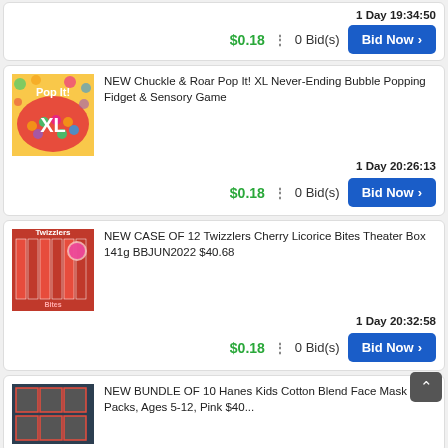1 Day 19:34:50
$0.18 : 0 Bid(s)
NEW Chuckle & Roar Pop It! XL Never-Ending Bubble Popping Fidget & Sensory Game
1 Day 20:26:13
$0.18 : 0 Bid(s)
NEW CASE OF 12 Twizzlers Cherry Licorice Bites Theater Box 141g BBJUN2022 $40.68
1 Day 20:32:58
$0.18 : 0 Bid(s)
NEW BUNDLE OF 10 Hanes Kids Cotton Blend Face Mask 5-Packs, Ages 5-12, Pink $40...